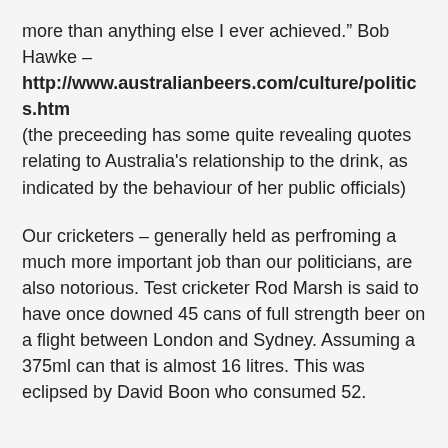more than anything else I ever achieved." Bob Hawke –
http://www.australianbeers.com/culture/politics.htm
(the preceeding has some quite revealing quotes relating to Australia's relationship to the drink, as indicated by the behaviour of her public officials)
Our cricketers – generally held as perfroming a much more important job than our politicians, are also notorious. Test cricketer Rod Marsh is said to have once downed 45 cans of full strength beer on a flight between London and Sydney. Assuming a 375ml can that is almost 16 litres. This was eclipsed by David Boon who consumed 52.